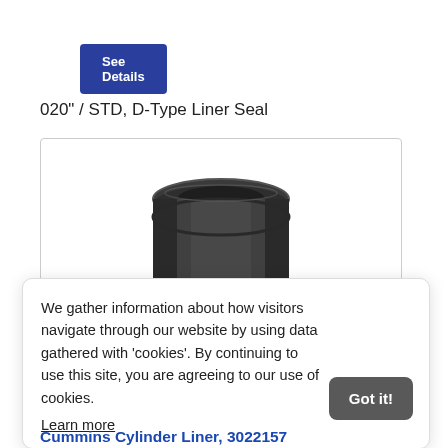See Details
020" / STD, D-Type Liner Seal
[Figure (photo): Cummins cylinder liner part, dark grey/black cylindrical component with a flanged rim, viewed from above at a slight angle.]
We gather information about how visitors navigate through our website by using data gathered with 'cookies'. By continuing to use this site, you are agreeing to our use of cookies.
Learn more
Got it!
Cummins Cylinder Liner, 3022157